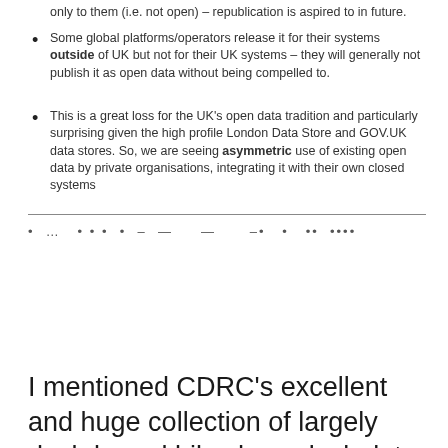only to them (i.e. not open) – republication is aspired to in future.
Some global platforms/operators release it for their systems outside of UK but not for their UK systems – they will generally not publish it as open data without being compelled to.
This is a great loss for the UK's open data tradition and particularly surprising given the high profile London Data Store and GOV.UK data stores. So, we are seeing asymmetric use of existing open data by private organisations, integrating it with their own closed systems
• … • • • • – — — – • • ….
I mentioned CDRC's excellent and huge collection of largely dock-based bikeshare dock data,